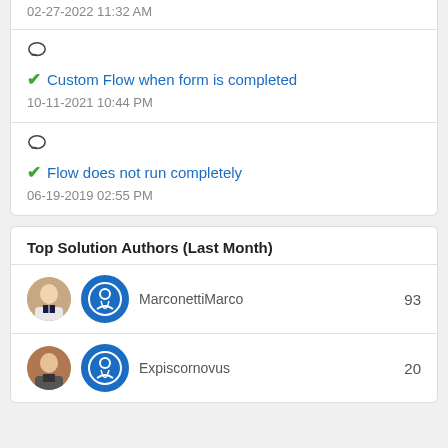02-27-2022 11:32 AM
Custom Flow when form is completed — 10-11-2021 10:44 PM
Flow does not run completely — 06-19-2019 02:55 PM
Top Solution Authors (Last Month)
MarconettiMarco 93
Expiscornovus 20